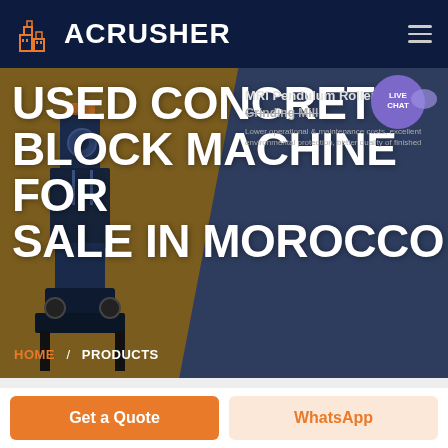ACRUSHER
USED CONCRETE BLOCK MACHINE FOR SALE IN MOROCCO
MRI Pendulum Roller Grinding Mill
Lower operational & maintenance costs, excellent environmental protection, better quality of finished
LIVE CHAT
HOME / PRODUCTS
Get a Quote
WhatsApp